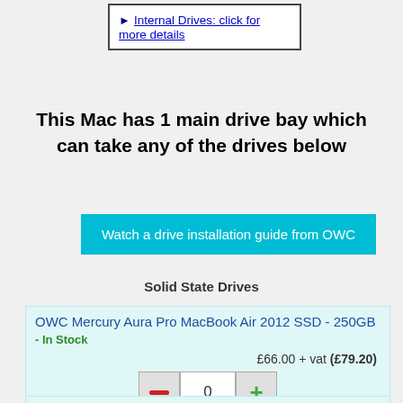► Internal Drives: click for more details
This Mac has 1 main drive bay which can take any of the drives below
Watch a drive installation guide from OWC
Solid State Drives
OWC Mercury Aura Pro MacBook Air 2012 SSD - 250GB
- In Stock
£66.00 + vat (£79.20)
OWC Mercury Aura Pro MacBook Air 2012 SSD - 500GB
- In Stock